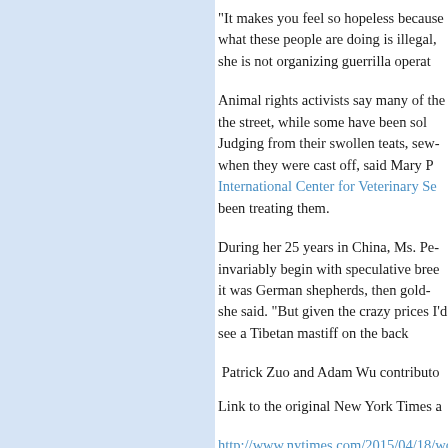“It makes you feel so hopeless because what these people are doing is illegal, she is not organizing guerrilla operat…
Animal rights activists say many of the street, while some have been sol… Judging from their swollen teats, sew… when they were cast off, said Mary P… International Center for Veterinary Se… been treating them.
During her 25 years in China, Ms. Pe… invariably begin with speculative bre… it was German shepherds, then gold… she said. “But given the crazy prices… I’d see a Tibetan mastiff on the back…
Patrick Zuo and Adam Wu contribute…
Link to the original New York Times a…
http://www.nytimes.com/2015/04/18/worl…